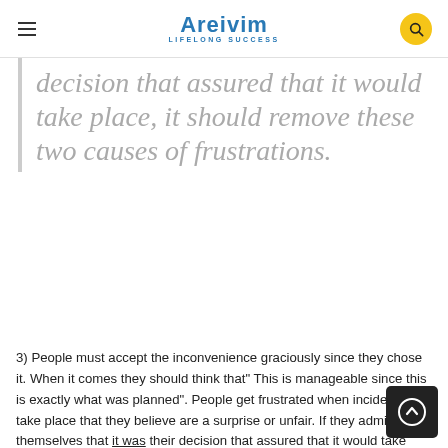Areivim — LIFELONG SUCCESS
decision that assured that it would take place, it should remove these two causes of frustrations.
3) People must accept the inconvenience graciously since they chose it. When it comes they should think that" This is manageable since this is exactly what was planned". People get frustrated when incidents take place that they believe are a surprise or unfair. If they admit to themselves that it was their decision that assured that it would take place, it should remove these two causes of frustrations.